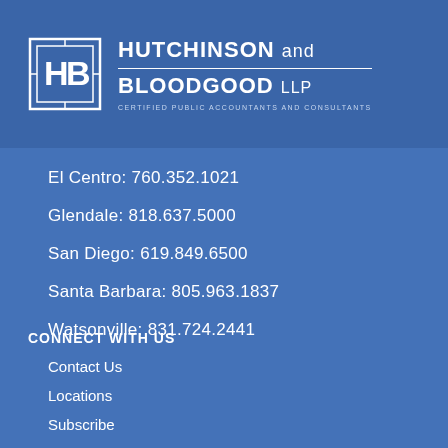[Figure (logo): Hutchinson and Bloodgood LLP logo with HB monogram in a square frame, firm name, and subtitle CERTIFIED PUBLIC ACCOUNTANTS AND CONSULTANTS]
El Centro: 760.352.1021
Glendale: 818.637.5000
San Diego: 619.849.6500
Santa Barbara: 805.963.1837
Watsonville: 831.724.2441
CONNECT WITH US
Contact Us
Locations
Subscribe
Careers